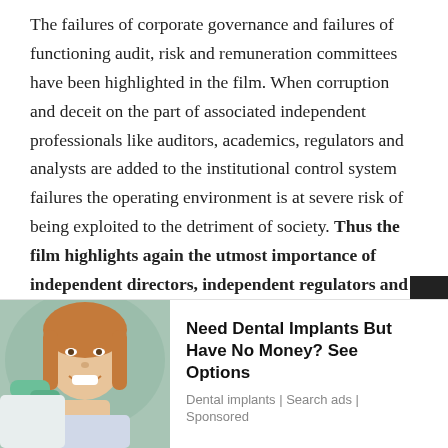The failures of corporate governance and failures of functioning audit, risk and remuneration committees have been highlighted in the film. When corruption and deceit on the part of associated independent professionals like auditors, academics, regulators and analysts are added to the institutional control system failures the operating environment is at severe risk of being exploited to the detriment of society. Thus the film highlights again the utmost importance of independent directors, independent regulators and independent
[Figure (photo): Advertisement photo showing a woman smiling at a dental clinic, with a dental professional in green gloves visible.]
Need Dental Implants But Have No Money? See Options
Dental implants | Search ads | Sponsored